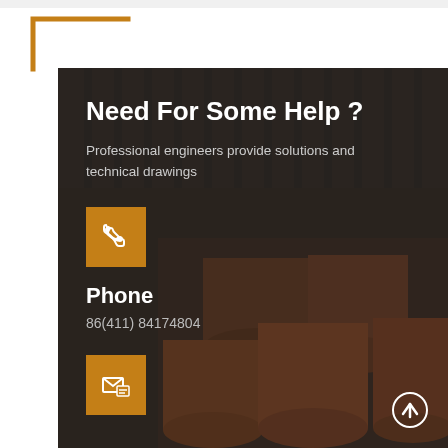[Figure (illustration): Top white bar and golden bracket corner decoration in the upper left area]
[Figure (photo): Dark industrial background with stacked metal pipes/tubes in rust and orange colors overlaid with dark semi-transparent layer]
Need For Some Help ?
Professional engineers provide solutions and technical drawings
[Figure (illustration): Orange square icon box with white phone/telephone icon]
Phone
86(411) 84174804
[Figure (illustration): Orange square icon box with white email/contact icon]
[Figure (illustration): White upward arrow in bottom right corner]